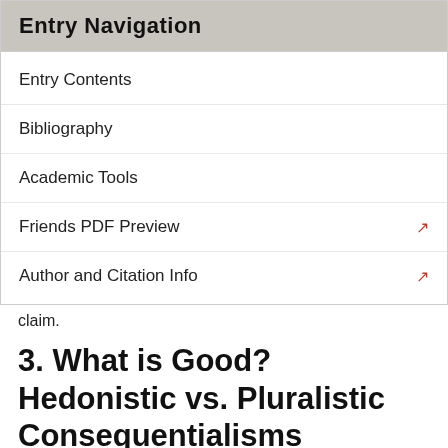Entry Navigation
Entry Contents
Bibliography
Academic Tools
Friends PDF Preview
Author and Citation Info
claim.
3. What is Good? Hedonistic vs. Pluralistic Consequentialisms
From the start, the hedonism in classic utilitarianism was treated with contempt. Some contemporaries of Bentham and Mill argued that hedonism lowers the value of human life to the level of animals, because it implies that, as Bentham said, a simple game (such as push-pin) is as